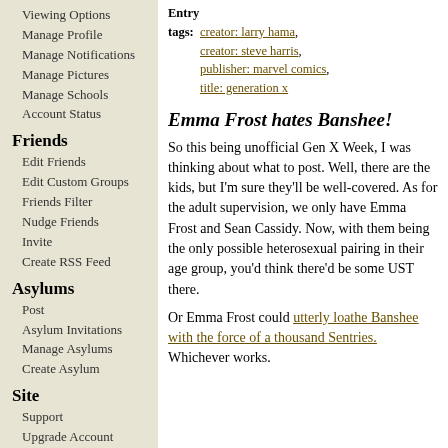Viewing Options
Manage Profile
Manage Notifications
Manage Pictures
Manage Schools
Account Status
Friends
Edit Friends
Edit Custom Groups
Friends Filter
Nudge Friends
Invite
Create RSS Feed
Asylums
Post
Asylum Invitations
Manage Asylums
Create Asylum
Site
Support
Upgrade Account
FAQs
Entry tags: creator: larry hama, creator: steve harris, publisher: marvel comics, title: generation x
Emma Frost hates Banshee!
So this being unofficial Gen X Week, I was thinking about what to post. Well, there are the kids, but I'm sure they'll be well-covered. As for the adult supervision, we only have Emma Frost and Sean Cassidy. Now, with them being the only possible heterosexual pairing in their age group, you'd think there'd be some UST there.
Or Emma Frost could utterly loathe Banshee with the force of a thousand Sentries. Whichever works.